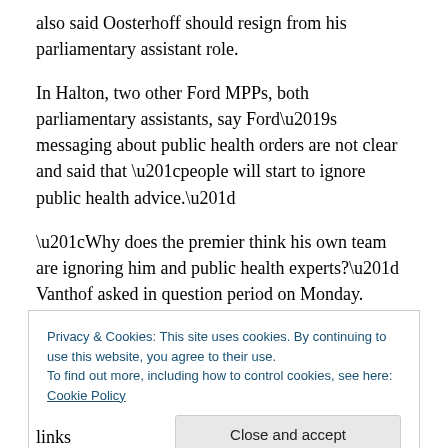also said Oosterhoff should resign from his parliamentary assistant role.
In Halton, two other Ford MPPs, both parliamentary assistants, say Ford’s messaging about public health orders are not clear and said that “people will start to ignore public health advice.”
“Why does the premier think his own team are ignoring him and public health experts?” Vanthof asked in question period on Monday.
Privacy & Cookies: This site uses cookies. By continuing to use this website, you agree to their use.
To find out more, including how to control cookies, see here: Cookie Policy
Close and accept
links